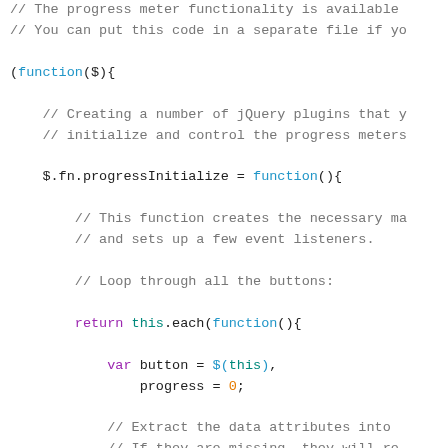// The progress meter functionality is available ...
// You can put this code in a separate file if yo...

(function($){

    // Creating a number of jQuery plugins that y...
    // initialize and control the progress meters...

    $.fn.progressInitialize = function(){

        // This function creates the necessary m...
        // and sets up a few event listeners.

        // Loop through all the buttons:

        return this.each(function(){

            var button = $(this),
                progress = 0;

            // Extract the data attributes into...
            // If they are missing, they will re...

            var options = $.extend({
                type:'background-horizontal',
                loading: 'Loading..',
                ...